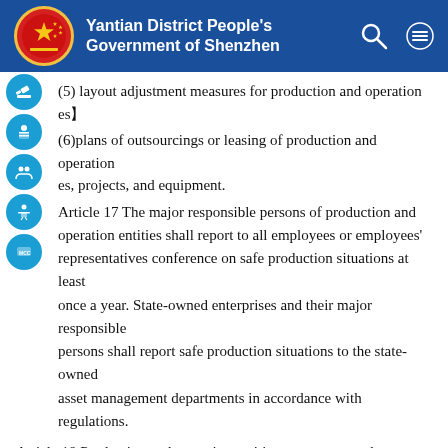Yantian District People's Government of Shenzhen
(5) layout adjustment measures for production and operation es【
(6) plans of outsourcings or leasing of production and operation es, projects, and equipment.
Article 17 The major responsible persons of production and operation entities shall report to all employees or employees' representatives conference on safe production situations at least once a year. State-owned enterprises and their major responsible persons shall report safe production situations to the state-owned asset management departments in accordance with regulations.
Article 18 Production and operation entities are encouraged to offer higher salaries to management personnel of safe production